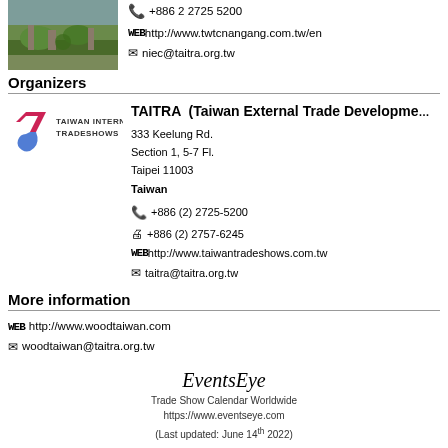[Figure (photo): Outdoor venue/building with green lawn and architectural elements, aerial or ground-level view]
+886 2 2725 5200
http://www.twtcnangang.com.tw/en
niec@taitra.org.tw
Organizers
[Figure (logo): Taiwan International Tradeshows logo with stylized red and blue figure-7 icon]
TAITRA (Taiwan External Trade Development Council)
333 Keelung Rd.
Section 1, 5-7 Fl.
Taipei 11003
Taiwan
+886 (2) 2725-5200
+886 (2) 2757-6245
http://www.taiwantradeshows.com.tw
taitra@taitra.org.tw
More information
http://www.woodtaiwan.com
woodtaiwan@taitra.org.tw
EventsEye
Trade Show Calendar Worldwide
https://www.eventseye.com
(Last updated: June 14th 2022)